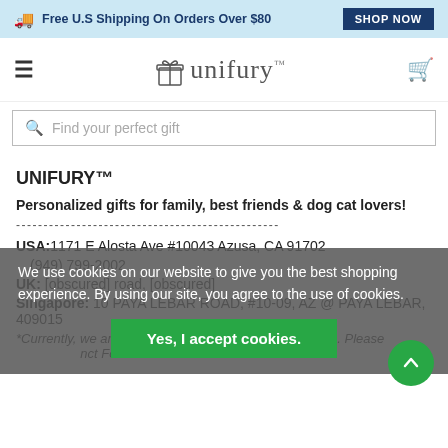Free U.S Shipping On Orders Over $80 | SHOP NOW
[Figure (logo): Unifury logo with gift box icon and text 'unifury™']
Find your perfect gift
UNIFURY™
Personalized gifts for family, best friends & dog cat lovers!
------------------------------------------------
USA: 1171 E Alosta Ave #10043 Azusa, CA 91702
(949) 799-2002
UK: [address text obscured by cookie overlay]
Singapore: 10 PAYA LEBAR ROAD, #10-09, AZ @ PAYA LEBAR, 409015
*Currently, we are [obscured by cookie overlay] voicemail/phone message. Please [obscured] nct Form.
We use cookies on our website to give you the best shopping experience. By using our site, you agree to the use of cookies.
Yes, I accept cookies.